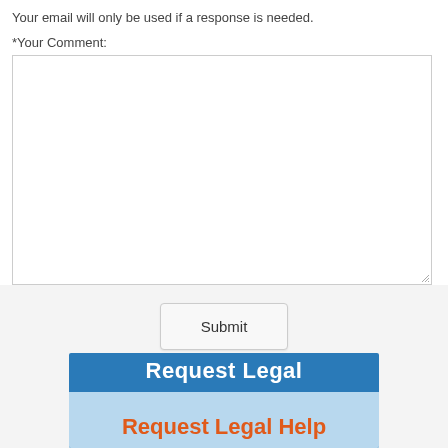Your email will only be used if a response is needed.
*Your Comment:
[Figure (other): Large empty text area input box for user comment submission]
Submit
[Figure (infographic): Blue banner with white bold text 'Request Legal' on top and orange bold text 'Request Legal Help' on a light blue background below]